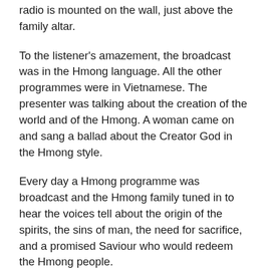radio is mounted on the wall, just above the family altar.
To the listener's amazement, the broadcast was in the Hmong language. All the other programmes were in Vietnamese. The presenter was talking about the creation of the world and of the Hmong. A woman came on and sang a ballad about the Creator God in the Hmong style.
Every day a Hmong programme was broadcast and the Hmong family tuned in to hear the voices tell about the origin of the spirits, the sins of man, the need for sacrifice, and a promised Saviour who would redeem the Hmong people.
Christian radio programmes have been remarkable in their scope and impact in Vietnam